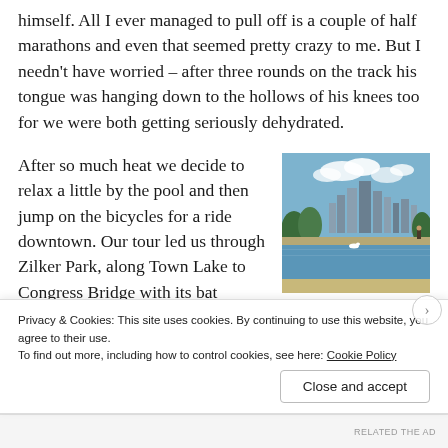himself. All I ever managed to pull off is a couple of half marathons and even that seemed pretty crazy to me. But I needn't have worried – after three rounds on the track his tongue was hanging down to the hollows of his knees too for we were both getting seriously dehydrated.
After so much heat we decide to relax a little by the pool and then jump on the bicycles for a ride downtown. Our tour led us through Zilker Park, along Town Lake to Congress Bridge with its bat colony and up Congress Street, where I wanted Poochie to see the capitol from afar in all its glory. It is a marvelous sight
[Figure (photo): Outdoor photo of a lake with city skyline in the background and a person standing on the shore, taken at Lou Neff Point, Zilker Park.]
Lou Neff Point, Zilker Park. Yes, there is a person standing there on
Privacy & Cookies: This site uses cookies. By continuing to use this website, you agree to their use.
To find out more, including how to control cookies, see here: Cookie Policy
Close and accept